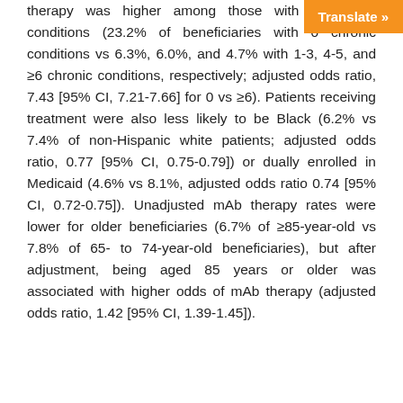therapy was higher among those with 0 chronic conditions (23.2% of beneficiaries with 0 chronic conditions vs 6.3%, 6.0%, and 4.7% with 1-3, 4-5, and ≥6 chronic conditions, respectively; adjusted odds ratio, 7.43 [95% CI, 7.21-7.66] for 0 vs ≥6). Patients receiving treatment were also less likely to be Black (6.2% vs 7.4% of non-Hispanic white patients; adjusted odds ratio, 0.77 [95% CI, 0.75-0.79]) or dually enrolled in Medicaid (4.6% vs 8.1%, adjusted odds ratio 0.74 [95% CI, 0.72-0.75]). Unadjusted mAb therapy rates were lower for older beneficiaries (6.7% of ≥85-year-old vs 7.8% of 65- to 74-year-old beneficiaries), but after adjustment, being aged 85 years or older was associated with higher odds of mAb therapy (adjusted odds ratio, 1.42 [95% CI, 1.39-1.45]).